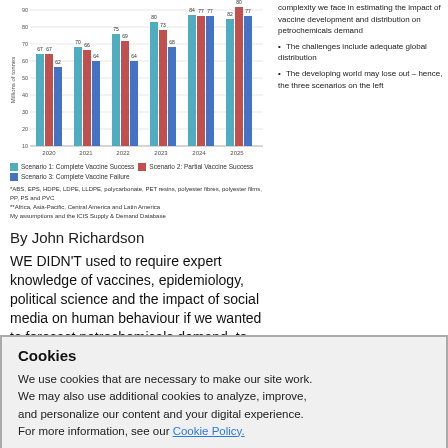[Figure (grouped-bar-chart): Petrochemicals demand scenarios 2020-2025]
Scenario 1: Complete Vaccine Success | Scenario 2: Partial Vaccine Success | Scenario 3: Complete Vaccine Failure
*ABS, EPS, HDPE, LDPE, LLDPE, polycarbonate, PET resins, polyester fibres, polyester films, PP, PS and PVC
**Africa, Asia-Pacific, Central America and Latin America
My assumptions and the ICIS Supply & Demand Database
complexity we face in estimating the impact of vaccine development and distribution on petrochemicals demand
The challenges include adequate global distribution
The developing world may lose out – hence, the three scenarios on the left
By John Richardson
WE DIDN'T used to require expert knowledge of vaccines, epidemiology, political science and the impact of social media on human behaviour if we wanted to forecast petrochemicals demand, to name but a few of
Cookies
We use cookies that are necessary to make our site work. We may also use additional cookies to analyze, improve, and personalize our content and your digital experience. For more information, see our Cookie Policy.